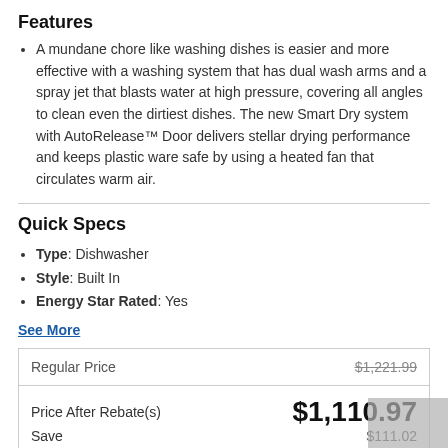Features
A mundane chore like washing dishes is easier and more effective with a washing system that has dual wash arms and a spray jet that blasts water at high pressure, covering all angles to clean even the dirtiest dishes. The new Smart Dry system with AutoRelease™ Door delivers stellar drying performance and keeps plastic ware safe by using a heated fan that circulates warm air.
Quick Specs
Type: Dishwasher
Style: Built In
Energy Star Rated: Yes
See More
|  |  |
| --- | --- |
| Regular Price | $1,221.99 |
| Price After Rebate(s) | $1,110.97 |
| Save | $111.02 |
| Rebate Available | See Details |